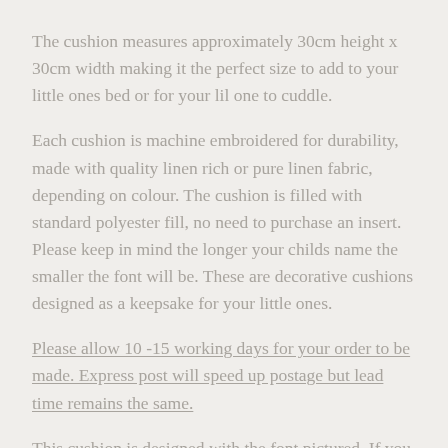The cushion measures approximately 30cm height x 30cm width making it the perfect size to add to your little ones bed or for your lil one to cuddle.
Each cushion is machine embroidered for durability, made with quality linen rich or pure linen fabric, depending on colour. The cushion is filled with standard polyester fill, no need to purchase an insert. Please keep in mind the longer your childs name the smaller the font will be. These are decorative cushions designed as a keepsake for your little ones.
Please allow 10 -15 working days for your order to be made. Express post will speed up postage but lead time remains the same.
This cushion is designed with the font pictured. If you